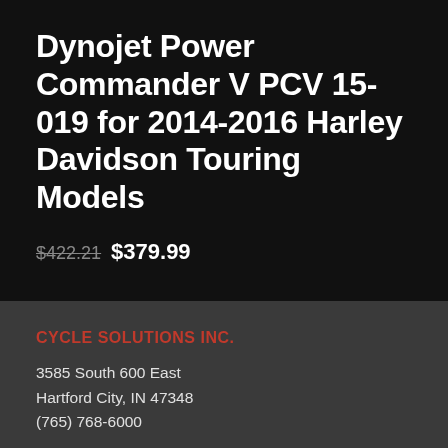Dynojet Power Commander V PCV 15-019 for 2014-2016 Harley Davidson Touring Models
$422.21 $379.99
CYCLE SOLUTIONS INC.
3585 South 600 East
Hartford City, IN 47348
(765) 768-6000
15870 Pine Ridge Rd, Ste 4
Fort Myers, Florida 33908